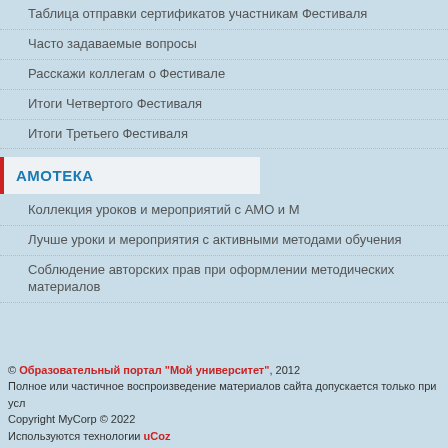Таблица отправки сертификатов участникам Фестиваля
Часто задаваемые вопросы
Расскажи коллегам о Фестивале
Итоги Четвертого Фестиваля
Итоги Третьего Фестиваля
АМОТЕКА
Коллекция уроков и мероприятий с АМО и М
Лучше уроки и мероприятия с активными методами обучения
Соблюдение авторских прав при оформлении методических материалов
© Образовательный портал "Мой университет", 2012
Полное или частичное воспроизведение материалов сайта допускается только при усл...
Copyright MyCorp © 2022
Используются технологии uCoz